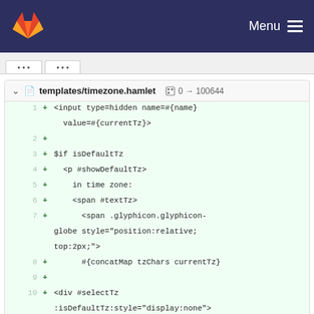GitLab — Menu
[Figure (screenshot): GitLab diff view showing templates/timezone.hamlet file with lines 1-12 of added code]
templates/timezone.hamlet  0 → 100644
1  + <input type=hidden name=#{name} value=#{currentTz}>
2  +
3  + $if isDefaultTz
4  +   <p #showDefaultTz>
5  +     in time zone:
6  +     <span #textTz>
7  +       <span .glyphicon.glyphicon-globe style="position:relative; top:2px;">
8  +       #{concatMap tzChars currentTz}
9  +
10 + <div #selectTz :isDefaultTz:style="display:none">
11 +   <p>
12 +     in time zone: